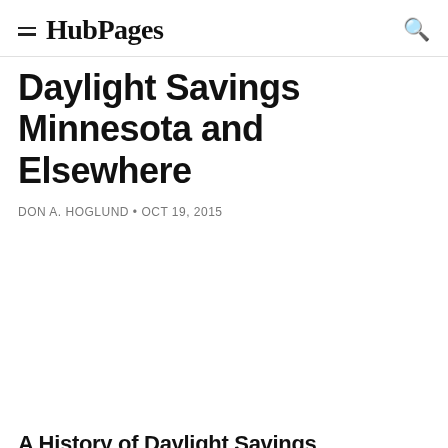HubPages
Daylight Savings Minnesota and Elsewhere
DON A. HOGLUND • OCT 19, 2015
[Figure (photo): Large white/blank image placeholder area]
A History of Daylight Savings